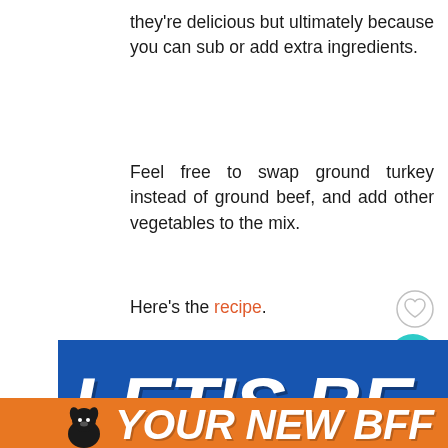they're delicious but ultimately because you can sub or add extra ingredients.
Feel free to swap ground turkey instead of ground beef, and add other vegetables to the mix.
Here's the recipe.
[Figure (infographic): Blue advertisement banner reading LET'S BE FRIENDS in large white italic bold letters]
[Figure (infographic): Orange advertisement banner reading YOUR NEW BFF with a dog icon]